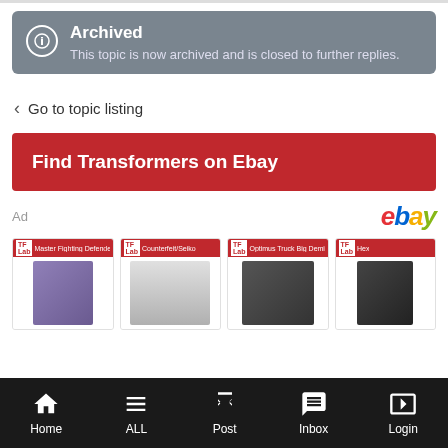Archived — This topic is now archived and is closed to further replies.
< Go to topic listing
Find Transformers on Ebay
[Figure (screenshot): eBay advertisement banner showing 4 Transformers toy products with TF labels]
Home | ALL | Post | Inbox | Login